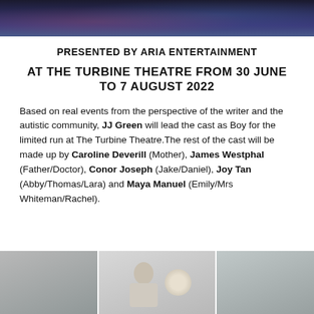[Figure (photo): Dark stage/performance photo with blue and red lighting at top of page]
PRESENTED BY ARIA ENTERTAINMENT
AT THE TURBINE THEATRE FROM 30 JUNE TO 7 AUGUST 2022
Based on real events from the perspective of the writer and the autistic community, JJ Green will lead the cast as Boy for the limited run at The Turbine Theatre.The rest of the cast will be made up by Caroline Deverill (Mother), James Westphal (Father/Doctor), Conor Joseph (Jake/Daniel), Joy Tan (Abby/Thomas/Lara) and Maya Manuel (Emily/Mrs Whiteman/Rachel).
[Figure (photo): Photo of actors in rehearsal or performance, shown in three panels at bottom of page]